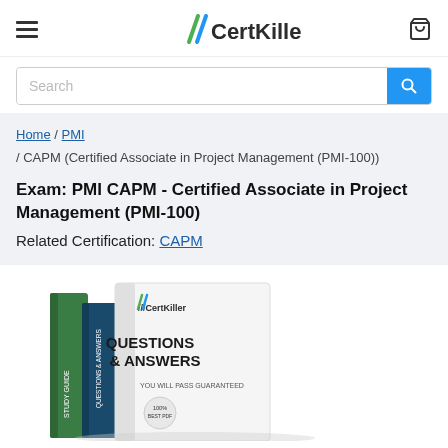CertKiller
Search
Home / PMI / CAPM (Certified Associate in Project Management (PMI-100))
Exam: PMI CAPM - Certified Associate in Project Management (PMI-100)
Related Certification: CAPM
[Figure (photo): CertKiller Questions & Answers study guide book product image showing stacked books with CertKiller branding, QUESTIONS & ANSWERS text, and YOU WILL PASS GUARANTEED tagline]